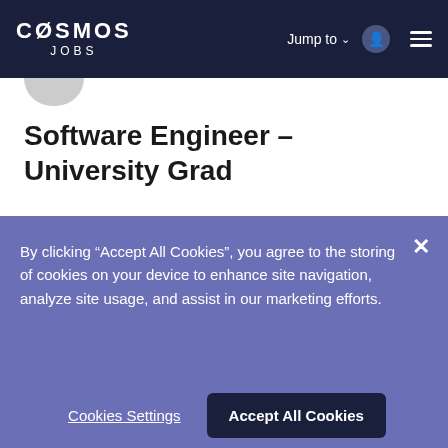COSMOS JOBS
Jump to
Software Engineer – University Grad
Band Protocol
Office
By clicking "Accept All Cookies", you agree to the storing of cookies on your device to enhance site navigation, analyze site usage, and assist in our marketing efforts.
Cookies Settings
Accept All Cookies